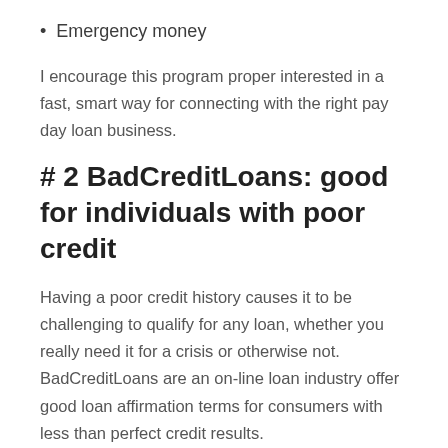Emergency money
I encourage this program proper interested in a fast, smart way for connecting with the right pay day loan business.
# 2 BadCreditLoans: good for individuals with poor credit
Having a poor credit history causes it to be challenging to qualify for any loan, whether you really need it for a crisis or otherwise not. BadCreditLoans are an on-line loan industry offer good loan affirmation terms for consumers with less than perfect credit results.
This business isn't a lender; rather, its a free of charge service that links bad credit consumers with personal loan loan providers that are prepared to deal with them. The BadCreditLoans marketplace can book lenders promoting mortgage amount including $500 to